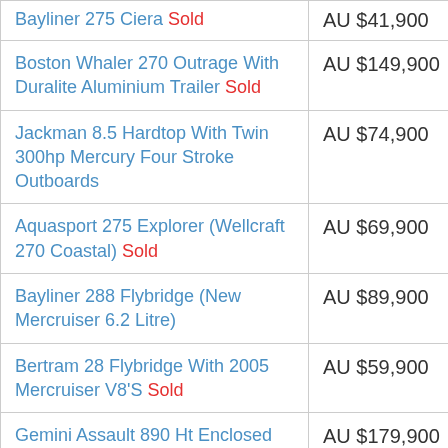| Boat | Price |
| --- | --- |
| Bayliner 275 Ciera Sold | AU $41,900 |
| Boston Whaler 270 Outrage With Duralite Aluminium Trailer Sold | AU $149,900 |
| Jackman 8.5 Hardtop With Twin 300hp Mercury Four Stroke Outboards | AU $74,900 |
| Aquasport 275 Explorer (Wellcraft 270 Coastal) Sold | AU $69,900 |
| Bayliner 288 Flybridge (New Mercruiser 6.2 Litre) | AU $89,900 |
| Bertram 28 Flybridge With 2005 Mercruiser V8'S Sold | AU $59,900 |
| Gemini Assault 890 Ht Enclosed With Trailer New Listing | AU $179,900 |
| Leisurecat 9000 Sportsfisher Sold | AU $164,900 |